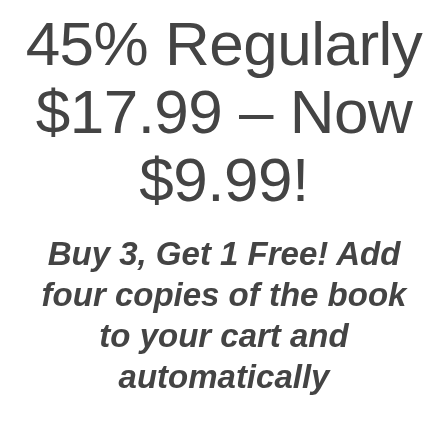45% Regularly $17.99 – Now $9.99!
Buy 3, Get 1 Free! Add four copies of the book to your cart and automatically